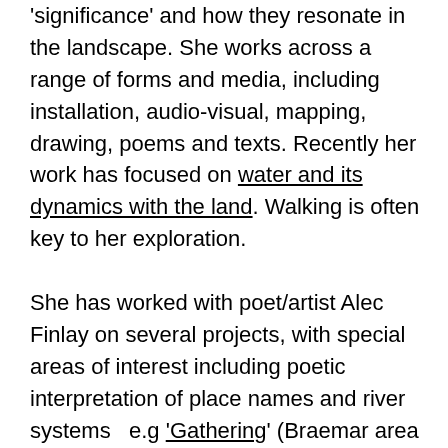'significance' and how they resonate in the landscape. She works across a range of forms and media, including installation, audio-visual, mapping, drawing, poems and texts. Recently her work has focused on water and its dynamics with the land. Walking is often key to her exploration.

She has worked with poet/artist Alec Finlay on several projects, with special areas of interest including poetic interpretation of place names and river systems  e.g 'Gathering' (Braemar area , 2017-18),  the 'Hielan' Ways' project  (Deveron